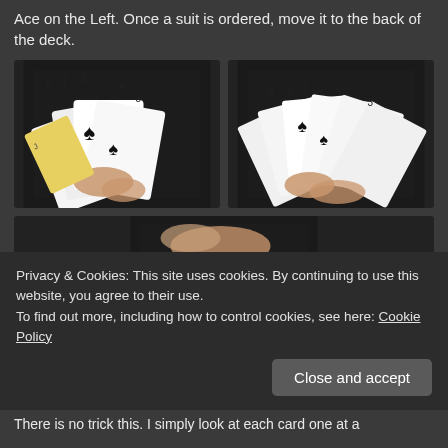Ace on the Left. Once a suit is ordered, move it to the back of the deck.
[Figure (photo): Hands holding and sorting playing cards (spades) - left photo]
[Figure (photo): Hands holding and sorting playing cards (spades) - right photo]
[Figure (photo): Hands holding and sorting playing cards (spades) - bottom left photo, partially visible]
Privacy & Cookies: This site uses cookies. By continuing to use this website, you agree to their use.
To find out more, including how to control cookies, see here: Cookie Policy
Close and accept
There is no trick this. I simply look at each card one at a